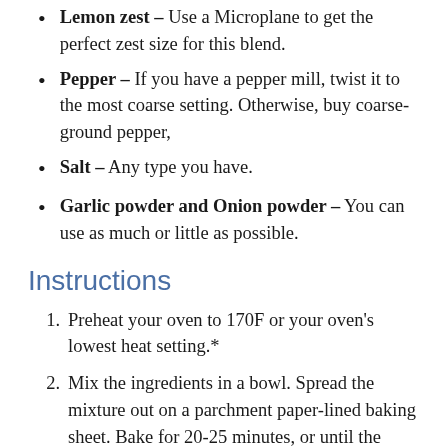Lemon zest – Use a Microplane to get the perfect zest size for this blend.
Pepper – If you have a pepper mill, twist it to the most coarse setting. Otherwise, buy coarse-ground pepper,
Salt – Any type you have.
Garlic powder and Onion powder – You can use as much or little as possible.
Instructions
1. Preheat your oven to 170F or your oven's lowest heat setting.*
2. Mix the ingredients in a bowl. Spread the mixture out on a parchment paper-lined baking sheet. Bake for 20-25 minutes, or until the lemon zest is completely dried out.
3.